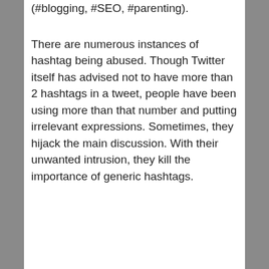(#blogging, #SEO, #parenting).
There are numerous instances of hashtag being abused. Though Twitter itself has advised not to have more than 2 hashtags in a tweet, people have been using more than that number and putting irrelevant expressions. Sometimes, they hijack the main discussion. With their unwanted intrusion, they kill the importance of generic hashtags.